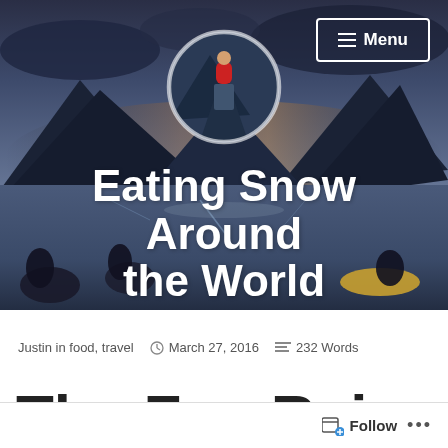[Figure (photo): Header background photo of a mountain lake at dusk with kayakers in foreground, and a circular avatar photo of a person in a red jacket on a rocky cliff]
Eating Snow Around the World
Outdoor Adventure Travel and Strange Foods
Justin in food, travel   March 27, 2016   232 Words
The Fu...Rei...